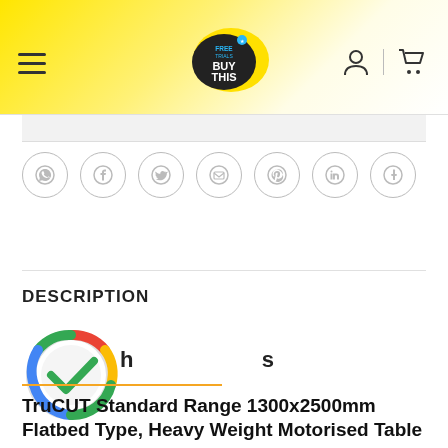[Figure (logo): BuyThis website header with yellow gradient background, hamburger menu icon on left, BuyThis logo in center (black bubble with FREE TRIAL text and BUY THIS text), user icon and cart icon on right]
[Figure (infographic): Row of 7 social sharing icons in circles: WhatsApp, Facebook, Twitter, Email, Pinterest, LinkedIn, Tumblr]
DESCRIPTION
[Figure (logo): Google colored checkmark badge/icon with multicolor ring (red, yellow, green, blue) and green checkmark]
Highlights
TruCUT Standard Range 1300x2500mm Flatbed Type, Heavy Weight Motorised Table Laser Cutting & Engraving Machine 130W–